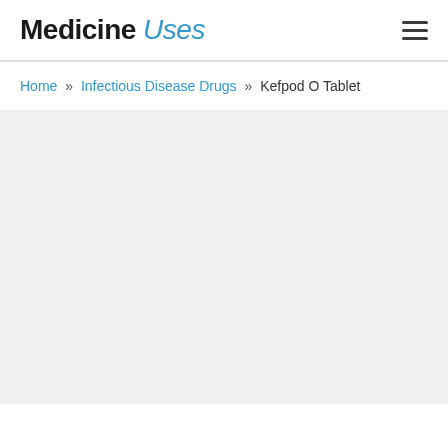Medicine Uses
Home » Infectious Disease Drugs » Kefpod O Tablet